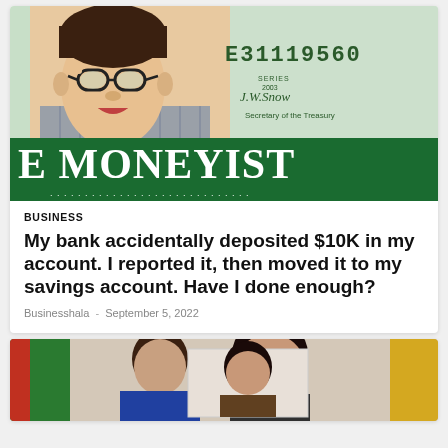[Figure (illustration): The Moneyist banner image: illustrated cartoon man in suit adjusting glasses overlaid on a US dollar bill background, with green banner reading 'E MONEYIST' and subtitle text below]
BUSINESS
My bank accidentally deposited $10K in my account. I reported it, then moved it to my savings account. Have I done enough?
Businesshala - September 5, 2022
[Figure (photo): Photograph of a person, partially visible, appearing to be at an official or diplomatic setting with flags in the background]